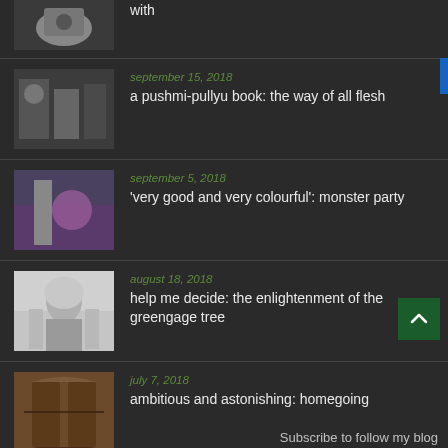with
september 15, 2018 — a pushmi-pullyu book: the way of all flesh
september 5, 2018 — 'very good and very colourful': monster party
august 18, 2018 — help me decide: the enlightenment of the greengage tree
july 7, 2018 — ambitious and astonishing: homegoing
june 12, 2018 — a woman's place? the...
Subscribe to follow my blog